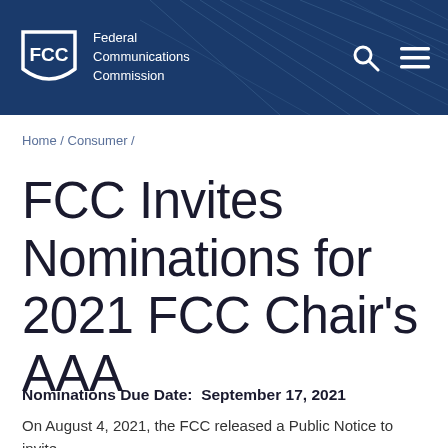Federal Communications Commission
Home / Consumer /
FCC Invites Nominations for 2021 FCC Chair's AAA
Nominations Due Date:  September 17, 2021
On August 4, 2021, the FCC released a Public Notice to invite